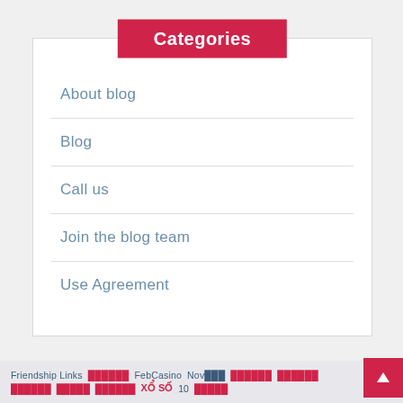Categories
About blog
Blog
Call us
Join the blog team
Use Agreement
Friendship Links  FebCasino  Nov  XỔ SỐ  10